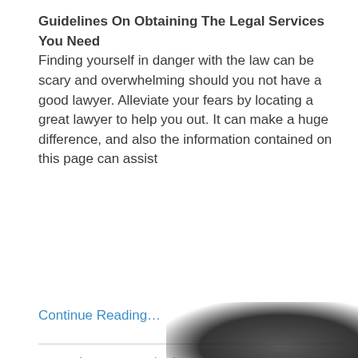Guidelines On Obtaining The Legal Services You Need
Finding yourself in danger with the law can be scary and overwhelming should you not have a good lawyer. Alleviate your fears by locating a great lawyer to help you out. It can make a huge difference, and also the information contained on this page can assist
Continue Reading…
Categories: Uncategorized
Tags: lawyers
Author: jodi22
[Figure (photo): A white and black Nike sneaker/basketball shoe photographed at an angle, with a shadow beneath it on a dark background]